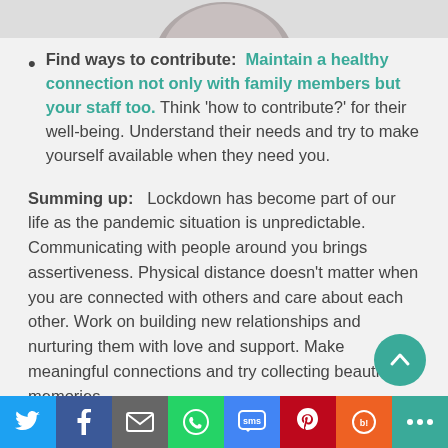[Figure (photo): Partial top of a photo, cropped at top of page]
Find ways to contribute: Maintain a healthy connection not only with family members but your staff too. Think 'how to contribute?' for their well-being. Understand their needs and try to make yourself available when they need you.
Summing up: Lockdown has become part of our life as the pandemic situation is unpredictable. Communicating with people around you brings assertiveness. Physical distance doesn't matter when you are connected with others and care about each other. Work on building new relationships and nurturing them with love and support. Make meaningful connections and try collecting beautiful memories.
Utpal Khot
[Figure (other): Social share bar with Twitter, Facebook, Email, WhatsApp, SMS, Pinterest, Bitly, More icons]